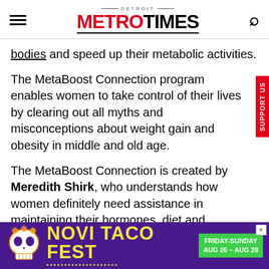[Figure (logo): Detroit Metro Times logo with hamburger menu and search icon]
bodies and speed up their metabolic activities.
The MetaBoost Connection program enables women to take control of their lives by clearing out all myths and misconceptions about weight gain and obesity in middle and old age.
The MetaBoost Connection is created by Meredith Shirk, who understands how women definitely need assistance in maintaining their hormones, diet and movements.
Since women work a lot and stress themselves with household chores, kids, and their jobs,
[Figure (illustration): Novi Taco Fest advertisement banner with skull graphic, yellow text on purple background, Friday-Sunday Aug 26 - Aug 28]